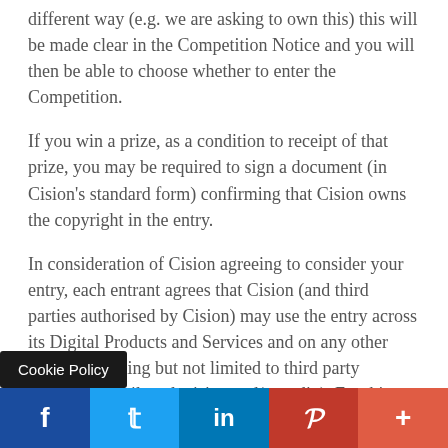different way (e.g. we are asking to own this) this will be made clear in the Competition Notice and you will then be able to choose whether to enter the Competition.
If you win a prize, as a condition to receipt of that prize, you may be required to sign a document (in Cision's standard form) confirming that Cision owns the copyright in the entry.
In consideration of Cision agreeing to consider your entry, each entrant agrees that Cision (and third parties authorised by Cision) may use the entry across its Digital Products and Services and on any other media (including but not limited to third party websites, mobile, television and/or radio). For this purpose, you grant Cision (and third parties
Cookie Policy